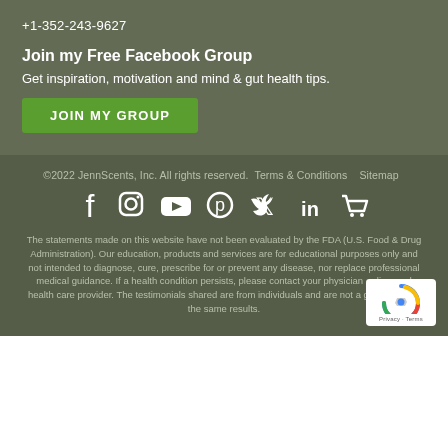+1-352-243-9627
Join my Free Facebook Group
Get inspiration, motivation and mind & gut health tips.
JOIN MY GROUP
©2022 JennScents, Inc. All rights reserved.   Terms & Conditions   Sitemap
[Figure (other): Social media icons: Facebook, Instagram, YouTube, Pinterest, Twitter, LinkedIn, Shopping Cart]
The statements made on this website have not been evaluated by the FDA (U.S. Food & Drug Administration). Our education, products and services are for educational purposes only and not intended to diagnose, cure, prescribe for or prevent any disease, nor replace professional medical guidance. If a health condition persists, please contact your physician or licensed health care provider. The testimonials shared are from individuals and are not a guarantee for the same results.
[Figure (logo): reCAPTCHA badge with Privacy and Terms links]